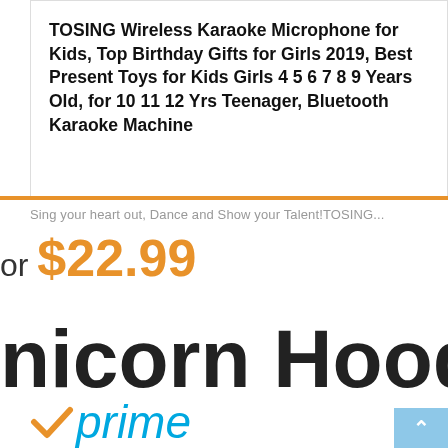TOSING Wireless Karaoke Microphone for Kids, Top Birthday Gifts for Girls 2019, Best Present Toys for Kids Girls 4 5 6 7 8 9 Years Old, for 10 11 12 Yrs Teenager, Bluetooth Karaoke Machine
Sing your heart out, Dance and Show your Talent!TOSING...
or $22.99
nicorn Hooded B
[Figure (logo): Amazon Prime logo with orange checkmark and blue 'prime' text in italic]
[Figure (other): Back to top button, light blue square with white upward arrow]